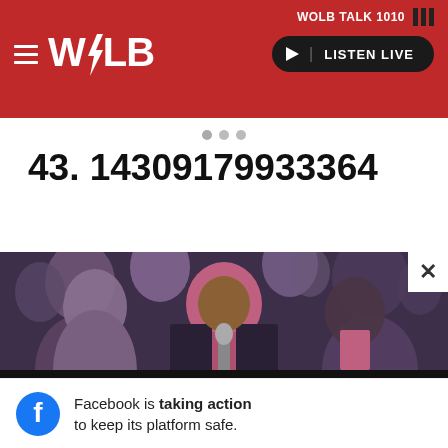WOLB TALK 1010
[Figure (logo): WOLB radio station logo with lightning bolt, hamburger menu, and LISTEN LIVE button on red header bar]
43. 14309179933364
[Figure (photo): A man in a pink shirt speaking at a microphone at a crowded event, with several people visible in the background]
Facebook is taking action to keep its platform safe.